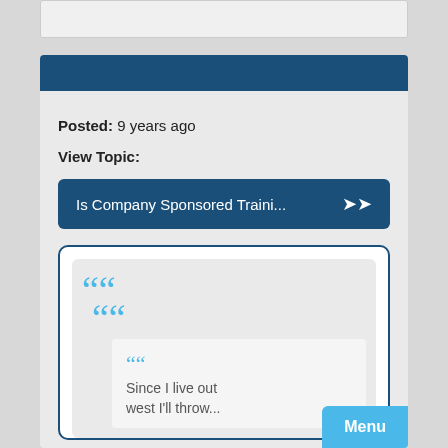[Figure (screenshot): Top bar element, light gray rounded rectangle]
Posted: 9 years ago
View Topic:
Is Company Sponsored Traini...
Since I live out west I'll throw...
Menu